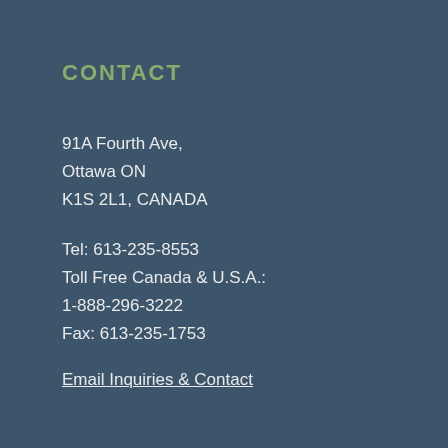CONTACT
91A Fourth Ave,
Ottawa ON
K1S 2L1, CANADA
Tel: 613-235-8553
Toll Free Canada & U.S.A.:
1-888-296-3222
Fax: 613-235-1753
Email Inquiries & Contact